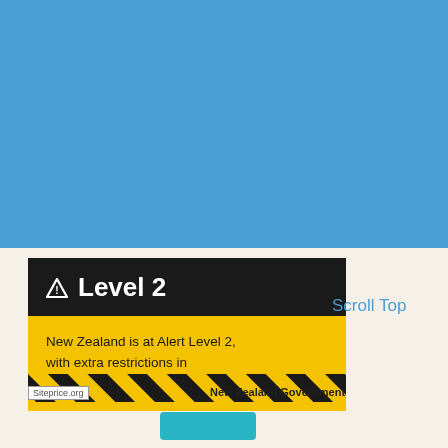[Figure (screenshot): Screenshot of New Zealand Government COVID-19 alert level banner showing Level 2 with warning triangle icon on black background, and yellow section with text 'New Zealand is at Alert Level 2, with extra restrictions in Auckland. Current restrictions' (linked). A 'Scroll Top' button appears to the right. Bottom shows diagonal hazard stripes, Siteprice.org badge, 'New Zealand Government' text, and a teal button.]